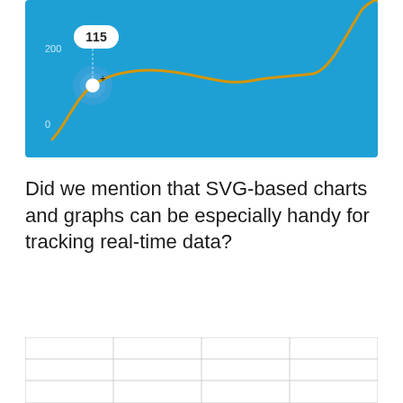[Figure (continuous-plot): A blue-background interactive line chart showing a golden/amber curved line trending upward. A tooltip bubble shows '115' at a highlighted point near the left side. The y-axis shows values 200 and 0. There is a white circle marker on the line with a crosshair (+) nearby, surrounded by a blue glow effect.]
Did we mention that SVG-based charts and graphs can be especially handy for tracking real-time data?
[Figure (other): A partially visible table or chart with a light gray border and vertical column dividers, content cut off at the bottom of the page.]